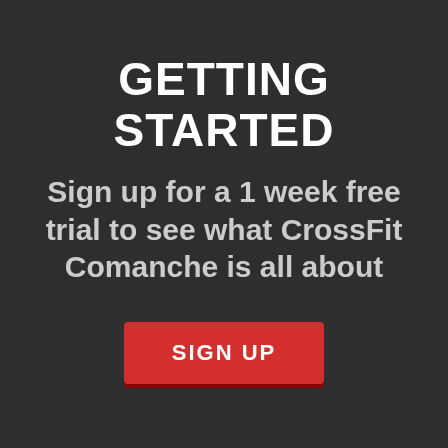GETTING STARTED
Sign up for a 1 week free trial to see what CrossFit Comanche is all about
SIGN UP